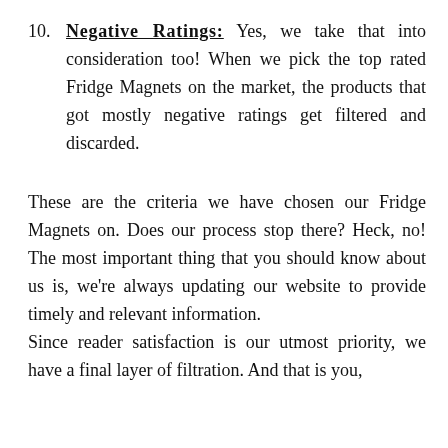10. Negative Ratings: Yes, we take that into consideration too! When we pick the top rated Fridge Magnets on the market, the products that got mostly negative ratings get filtered and discarded.
These are the criteria we have chosen our Fridge Magnets on. Does our process stop there? Heck, no! The most important thing that you should know about us is, we're always updating our website to provide timely and relevant information.
Since reader satisfaction is our utmost priority, we have a final layer of filtration. And that is you,